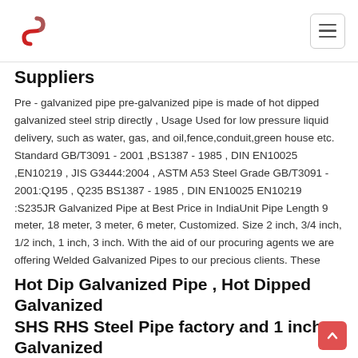[Logo] [Navigation hamburger menu]
Suppliers
Pre - galvanized pipe pre-galvanized pipe is made of hot dipped galvanized steel strip directly , Usage Used for low pressure liquid delivery, such as water, gas, and oil,fence,conduit,green house etc. Standard GB/T3091 - 2001 ,BS1387 - 1985 , DIN EN10025 ,EN10219 , JIS G3444:2004 , ASTM A53 Steel Grade GB/T3091 - 2001:Q195 , Q235 BS1387 - 1985 , DIN EN10025 EN10219 :S235JR Galvanized Pipe at Best Price in IndiaUnit Pipe Length 9 meter, 18 meter, 3 meter, 6 meter, Customized. Size 2 inch, 3/4 inch, 1/2 inch, 1 inch, 3 inch. With the aid of our procuring agents we are offering Welded Galvanized Pipes to our precious clients. These quality-approved welded pipes are properly welded under Galvanized Steel Pipe Galvanized Steel Pipe Price List ,
Hot Dip Galvanized Pipe , Hot Dipped Galvanized SHS RHS Steel Pipe factory and 1 inch Galvanized